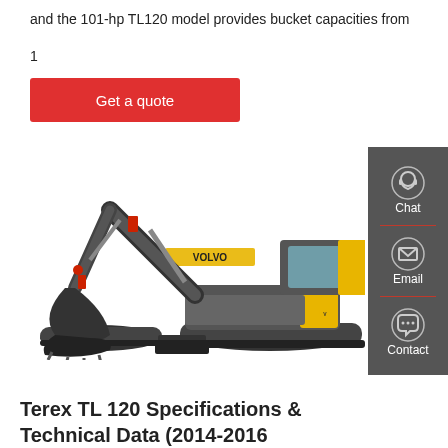and the 101-hp TL120 model provides bucket capacities from
1
Get a quote
[Figure (photo): Volvo compact excavator / Terex TL120 tracked excavator, yellow and black, photographed on white background]
[Figure (infographic): Sidebar with chat, email, and contact icons on dark grey background]
Terex TL 120 Specifications & Technical Data (2014-2016